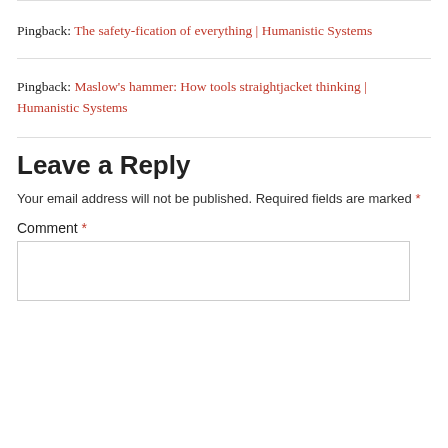Pingback: The safety-fication of everything | Humanistic Systems
Pingback: Maslow's hammer: How tools straightjacket thinking | Humanistic Systems
Leave a Reply
Your email address will not be published. Required fields are marked *
Comment *